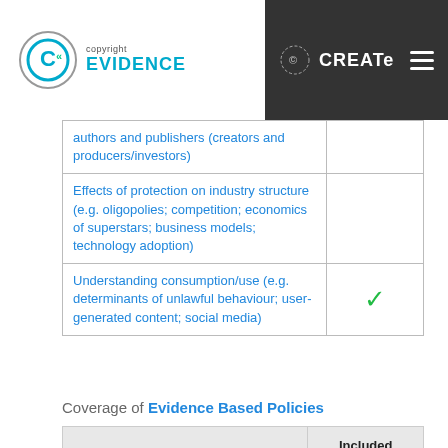copyright EVIDENCE | CREATe
| Issue | Included within Study |
| --- | --- |
| authors and publishers (creators and producers/investors) |  |
| Effects of protection on industry structure (e.g. oligopolies; competition; economics of superstars; business models; technology adoption) |  |
| Understanding consumption/use (e.g. determinants of unlawful behaviour; user-generated content; social media) | ✓ |
Coverage of Evidence Based Policies
| Issue | Included within Study |
| --- | --- |